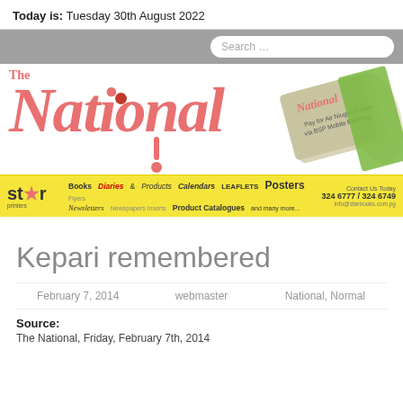Today is: Tuesday 30th August 2022
[Figure (logo): The National newspaper logo with rolled newspaper image and Star Printers advertisement banner]
Kepari remembered
February 7, 2014   webmaster   National, Normal
Source:
The National, Friday, February 7th, 2014